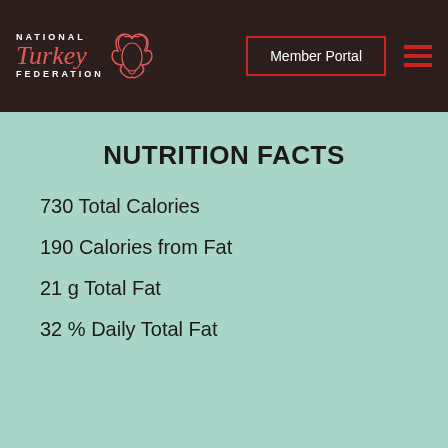[Figure (logo): National Turkey Federation logo with stylized turkey bird graphic]
Member Portal
NUTRITION FACTS
730 Total Calories
190 Calories from Fat
21 g Total Fat
32 % Daily Total Fat